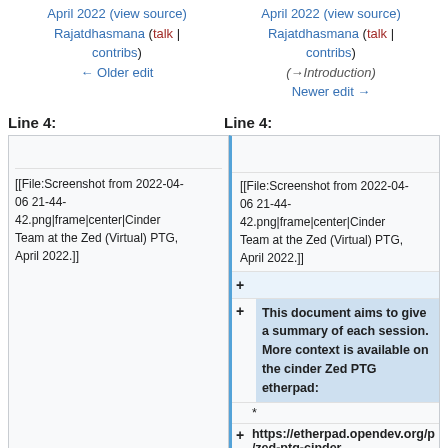April 2022 (view source) Rajatdhasmana (talk | contribs) ← Older edit
April 2022 (view source) Rajatdhasmana (talk | contribs) (→Introduction) Newer edit →
Line 4:
Line 4:
[[File:Screenshot from 2022-04-06 21-44-42.png|frame|center|Cinder Team at the Zed (Virtual) PTG, April 2022.]]
[[File:Screenshot from 2022-04-06 21-44-42.png|frame|center|Cinder Team at the Zed (Virtual) PTG, April 2022.]]
This document aims to give a summary of each session. More context is available on the cinder Zed PTG etherpad:
* https://etherpad.opendev.org/p/zed-ptg-cinder